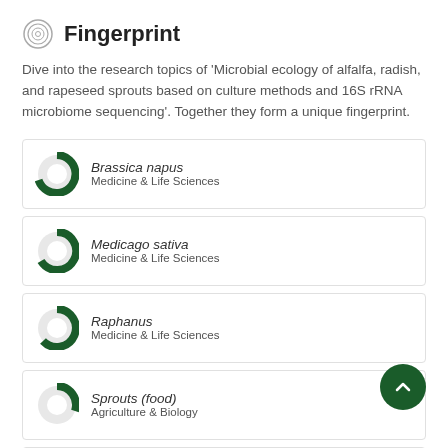Fingerprint
Dive into the research topics of 'Microbial ecology of alfalfa, radish, and rapeseed sprouts based on culture methods and 16S rRNA microbiome sequencing'. Together they form a unique fingerprint.
Brassica napus
Medicine & Life Sciences
Medicago sativa
Medicine & Life Sciences
Raphanus
Medicine & Life Sciences
Sprouts (food)
Agriculture & Biology
Microbial ecology